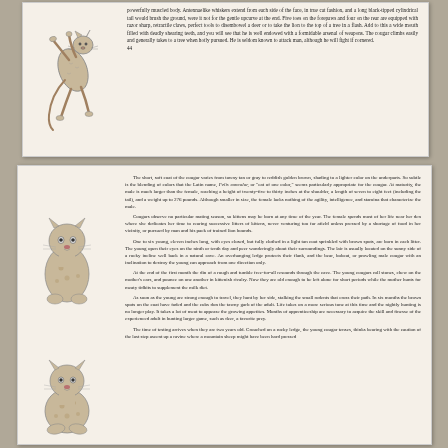[Figure (illustration): Black and white illustration of a cougar leaping/jumping upward, shown in a dynamic pose]
powerfully muscled body. Antennaelike whiskers extend from each side of the face, in true cat fashion, and a long black-tipped cylindrical tail would brush the ground, were it not for the gentle upcurve at the end. Five toes on the forepaws and four on the rear are equipped with razor sharp, retractile claws, perfect tools to disembowel a deer or to take the lion to the top of a tree in a flash. Add to this a wide mouth filled with deadly shearing teeth, and you will see that he is well endowed with a formidable arsenal of weapons. The cougar climbs easily and generally takes to a tree when hotly pursued. He is seldom known to attack man, although he will fight if cornered.
44
[Figure (illustration): Black and white illustration of a young cougar cub sitting upright, looking forward]
[Figure (illustration): Black and white illustration of a second young cougar cub in a slightly crouching sitting pose]
The short, soft coat of the cougar varies from tawny tan or gray to reddish golden brown, shading to a lighter color on the underparts. So subtle is the blending of colors that the Latin name, Felis concolor, or "cat of one color," seems particularly appropriate for the cougar. At maturity, the male is much larger than the female, reaching a height of twenty-five to thirty inches at the shoulder, a length of seven to eight feet (including the tail), and a weight up to 276 pounds. Although smaller in size, the female lacks nothing of the agility, intelligence, and stamina that characterize the male. Cougars observe no particular mating season, so kittens may be born at any time of the year. The female spends most of her life near her den where she dedicates her time to rearing successive litters of kittens, never venturing too far afield unless pressed by a shortage of food in her vicinity, or pursued by man and his pack of trained lion hounds. One to six young, eleven inches long, with eyes closed, but fully clothed in a light tan coat sprinkled with brown spots, are born in each litter. The young open their eyes on the ninth or tenth day and peer wonderingly about their surroundings. The lair is usually located on the sunny side of a rocky incline well back in a natural cave. An overhanging ledge protects their flank, and the bear, bobcat, or prowling male cougar with an inclination to destroy the young can approach from one direction only. At the end of the first month the din of a rough and tumble free-for-all resounds through the cave. The young cougars roll stones, chew on the mother's ears, and pounce on one another in kittenish rivalry. Now they are old enough to be left alone for short periods while the mother hunts for meaty tidbits to supplement the milk diet. As soon as the young are strong enough to travel, they hunt by her side, stalking the small rodents that cross their path. In six months the brown spots on the coat have faded and the cubs don the tawny garb of the adult. Life takes on a more serious tone at this time and the nightly hunting is no longer play. It takes a lot of meat to appease the growing appetites. Months of apprenticeship are necessary to acquire the skill and finesse of the experienced adult in hunting larger game, such as deer, a favorite prey. The time of testing arrives when they are two years old. Crouched on a rocky ledge, the young cougar tenses, thinks bearing with the caution of the last step ascent up a ravine where a mountain sheep might have been hard pressed